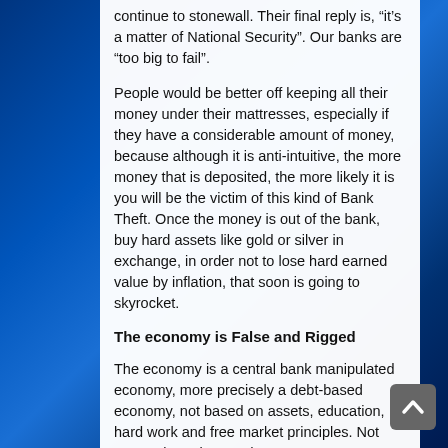continue to stonewall. Their final reply is, “it’s a matter of National Security”. Our banks are “too big to fail”.
People would be better off keeping all their money under their mattresses, especially if they have a considerable amount of money, because although it is anti-intuitive, the more money that is deposited, the more likely it is you will be the victim of this kind of Bank Theft. Once the money is out of the bank, buy hard assets like gold or silver in exchange, in order not to lose hard earned value by inflation, that soon is going to skyrocket.
The economy is False and Rigged
The economy is a central bank manipulated economy, more precisely a debt-based economy, not based on assets, education, hard work and free market principles. Not generating prices and